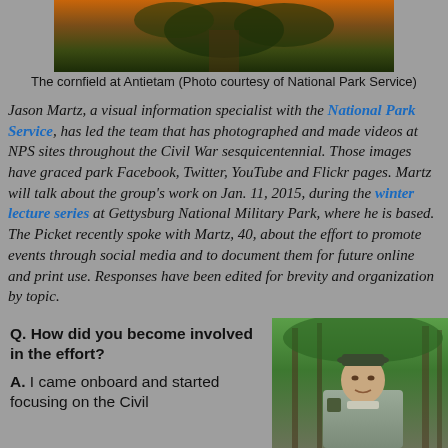[Figure (photo): Top image of cornfield at Antietam, orange/dark tones with corn foliage]
The cornfield at Antietam (Photo courtesy of National Park Service)
Jason Martz, a visual information specialist with the National Park Service, has led the team that has photographed and made videos at NPS sites throughout the Civil War sesquicentennial. Those images have graced park Facebook, Twitter, YouTube and Flickr pages. Martz will talk about the group's work on Jan. 11, 2015, during the winter lecture series at Gettysburg National Military Park, where he is based. The Picket recently spoke with Martz, 40, about the effort to promote events through social media and to document them for future online and print use. Responses have been edited for brevity and organization by topic.
Q. How did you become involved in the effort?
[Figure (photo): Portrait photo of Jason Martz, a man in a National Park Service ranger uniform and cap, standing outdoors in a forested area]
A. I came onboard and started focusing on the Civil